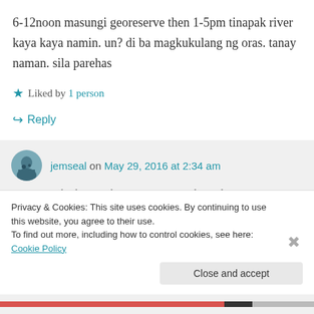6-12noon masungi georeserve then 1-5pm tinapak river kaya kaya namin. un? di ba magkukulang ng oras. tanay naman. sila parehas
★ Liked by 1 person
↳ Reply
jemseal on May 29, 2016 at 2:34 am
I think enough nman ang time. depends
Privacy & Cookies: This site uses cookies. By continuing to use this website, you agree to their use.
To find out more, including how to control cookies, see here: Cookie Policy